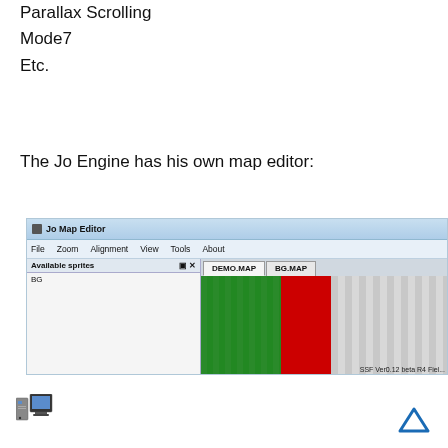Parallax Scrolling
Mode7
Etc.
The Jo Engine has his own map editor:
[Figure (screenshot): Jo Map Editor application screenshot showing title bar, menu bar with File, Zoom, Alignment, View, Tools, About options, Available sprites panel with BG listed, and map editor area with DEMO.MAP and BG.MAP tabs, showing green tiles, red block, and grey tiles with SSF emulator label]
[Figure (illustration): Computer/desktop icon in bottom left corner]
[Figure (illustration): Up arrow / caret navigation icon in bottom right corner]